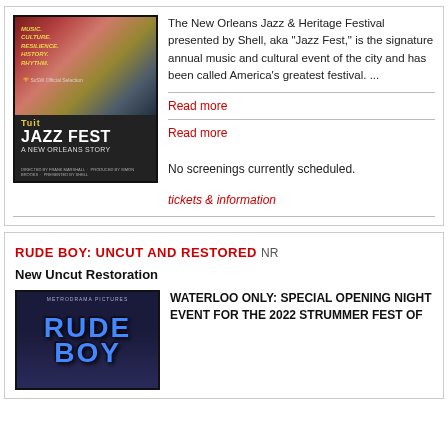[Figure (photo): Jazz Fest: A New Orleans Story movie poster showing colorful collage of musicians and festival goers]
The New Orleans Jazz & Heritage Festival presented by Shell, aka "Jazz Fest," is the signature annual music and cultural event of the city and has been called America's greatest festival. ...
Read more
Read more
No screenings currently scheduled.
tickets & information
RUDE BOY: UNCUT AND RESTORED NR
New Uncut Restoration
[Figure (photo): Rude Boy movie poster with blue stylized text on dark background]
WATERLOO ONLY: SPECIAL OPENING NIGHT EVENT FOR THE 2022 STRUMMER FEST OF